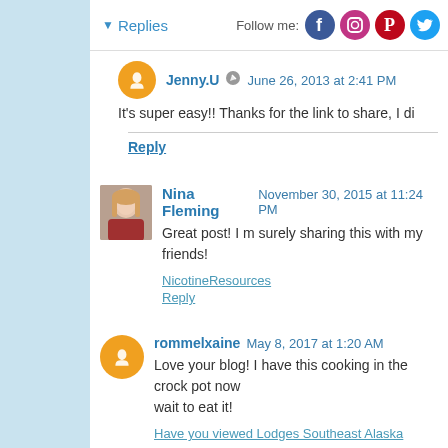Replies | Follow me: [Facebook] [Instagram] [Pinterest] [Twitter]
Jenny.U  June 26, 2013 at 2:41 PM
It's super easy!! Thanks for the link to share, I di
Reply
Nina Fleming  November 30, 2015 at 11:24 PM
Great post! I m surely sharing this with my friends!
NicotineResources
Reply
rommelxaine  May 8, 2017 at 1:20 AM
Love your blog! I have this cooking in the crock pot now wait to eat it!
Have you viewed Lodges Southeast Alaska